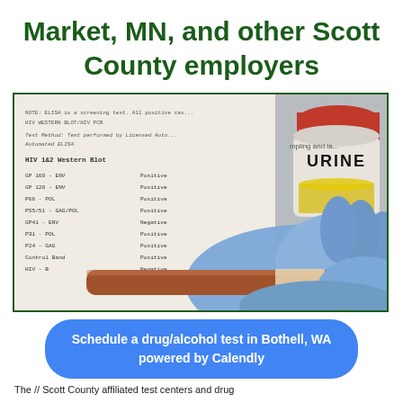Market, MN, and other Scott County employers
[Figure (photo): Photo of a gloved hand holding a blood collection tube in front of a lab report document and a URINE specimen container with red lid]
Schedule a drug/alcohol test in Bothell, WA powered by Calendly
The // Scott County affiliated test centers and drug